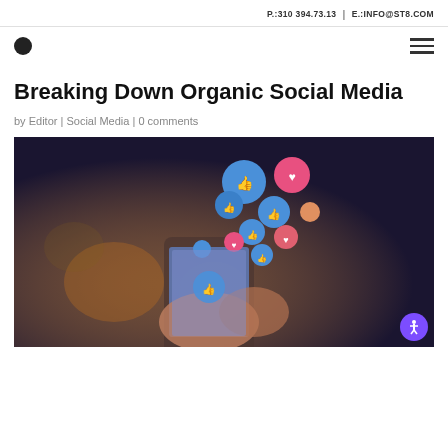P.:310 394.73.13 | E.:INFO@ST8.COM
[Figure (logo): Black circle logo dot and hamburger menu icon]
Breaking Down Organic Social Media
by Editor | Social Media | 0 comments
[Figure (photo): Hands holding a smartphone with social media reaction icons (likes and hearts) floating above the screen, dark blurred bokeh background]